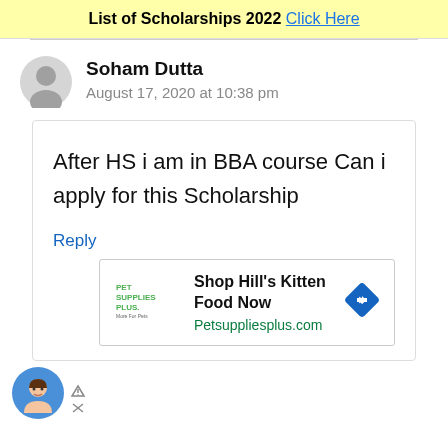List of Scholarships 2022 Click Here
Soham Dutta
August 17, 2020 at 10:38 pm
After HS i am in BBA course Can i apply for this Scholarship
Reply
[Figure (infographic): Advertisement for Pet Supplies Plus showing logo, text 'Shop Hill's Kitten Food Now', URL 'Petsuppliesplus.com', and a blue diamond-shaped arrow icon]